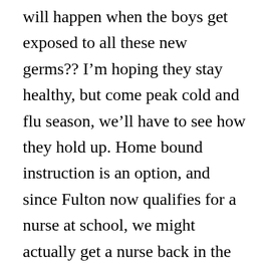will happen when the boys get exposed to all these new germs?? I'm hoping they stay healthy, but come peak cold and flu season, we'll have to see how they hold up. Home bound instruction is an option, and since Fulton now qualifies for a nurse at school, we might actually get a nurse back in the home on the days he can't go, or on the days the school is off during the year. At Teddy's elementary, they haven't had a child in a wheelchair in recent memory. It's just as new for the staff as it is for me. So far, everyone